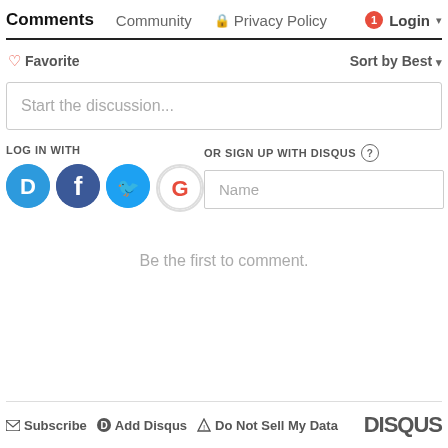Comments  Community  Privacy Policy  Login
Favorite  Sort by Best
Start the discussion...
LOG IN WITH
OR SIGN UP WITH DISQUS
[Figure (logo): Social login icons: Disqus (blue), Facebook (dark blue), Twitter (light blue), Google (red G)]
Name
Be the first to comment.
Subscribe  Add Disqus  Do Not Sell My Data  DISQUS